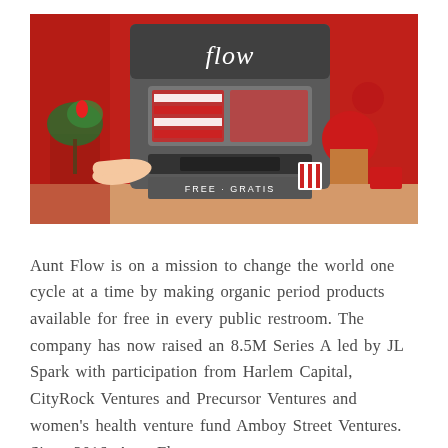[Figure (photo): A vending machine branded 'flow' with red background. A hand points to the machine which dispenses free period products. The machine has a 'FREE · GRATIS' label. Red decorative objects and a plant are visible beside it.]
Aunt Flow is on a mission to change the world one cycle at a time by making organic period products available for free in every public restroom. The company has now raised an 8.5M Series A led by JL Spark with participation from Harlem Capital, CityRock Ventures and Precursor Ventures and women's health venture fund Amboy Street Ventures. Since 2016, Aunt Flow...